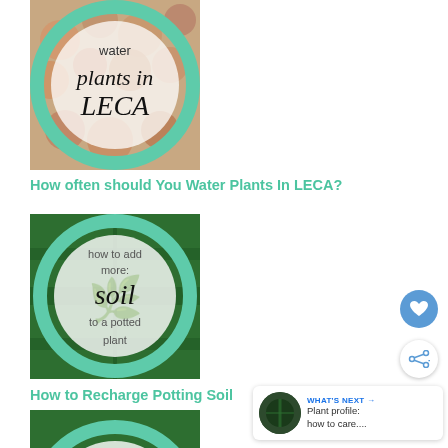[Figure (illustration): Circular thumbnail with teal ring border showing LECA pebbles background and text 'water plants in LECA']
How often should You Water Plants In LECA?
[Figure (illustration): Circular thumbnail with teal ring border showing green palm leaf background and text 'how to add more soil to a potted plant']
How to Recharge Potting Soil
[Figure (illustration): Circular thumbnail with teal ring border showing palm leaf background and text 'how to use activated charcoal for plants']
WHAT'S NEXT → Plant profile: how to care....